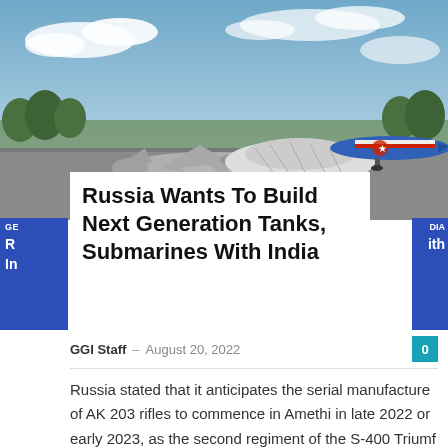[Figure (photo): Photo of military jets on an airfield tarmac with a blue sky and clouds in the background. One jet is grey/silver and another in the background is blue and red.]
Russia Wants To Build Next Generation Tanks, Submarines With India
GGI Staff – August 20, 2022
Russia stated that it anticipates the serial manufacture of AK 203 rifles to commence in Amethi in late 2022 or early 2023, as the second regiment of the S-400 Triumf air defense system begins to be delivered. With this, Russia wants to build the next generation of tanks and submarines with India.